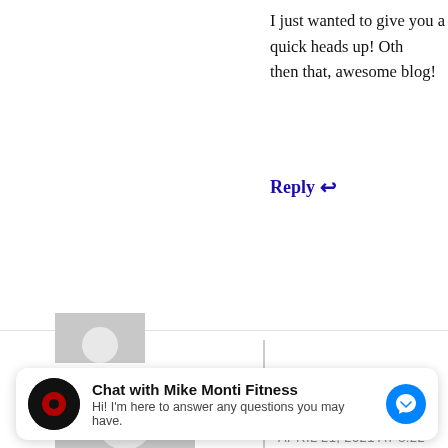I just wanted to give you a quick heads up! Other then that, awesome blog!
Reply ↩
Direct Lenders
APRIL 21, 2021 AT 8:22 AM
direct payday lenders online
Reply ↩
Chat with Mike Monti Fitness
Hi! I'm here to answer any questions you may have.